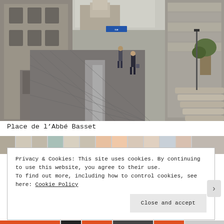[Figure (photo): A cobblestone street scene in Paris, France, showing two people walking away down a narrow alley flanked by historic stone buildings. A blue Parisian street sign is visible in the background. Stone steps and a plant are visible on the right side.]
Place de l’Abbé Basset
[Figure (photo): Partial thumbnail strip of other photos visible behind the cookie consent overlay]
Privacy & Cookies: This site uses cookies. By continuing to use this website, you agree to their use.
To find out more, including how to control cookies, see here: Cookie Policy
Close and accept